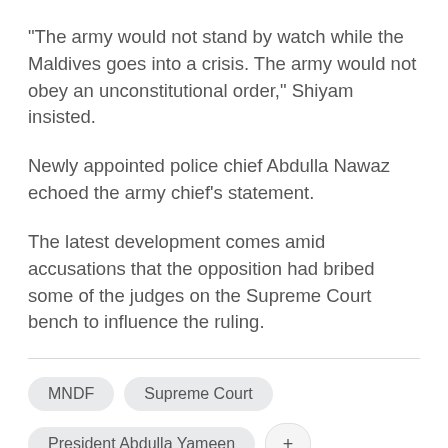"The army would not stand by watch while the Maldives goes into a crisis. The army would not obey an unconstitutional order," Shiyam insisted.
Newly appointed police chief Abdulla Nawaz echoed the army chief's statement.
The latest development comes amid accusations that the opposition had bribed some of the judges on the Supreme Court bench to influence the ruling.
MNDF
Supreme Court
President Abdulla Yameen
+